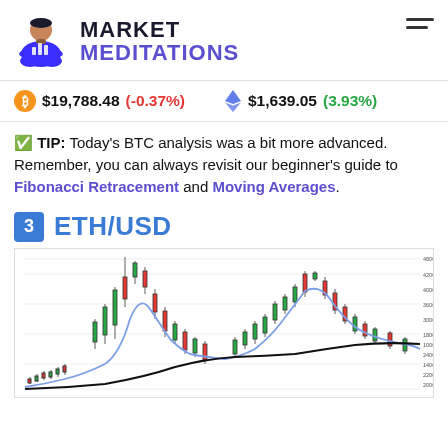MARKET MEDITATIONS
$19,788.48 (-0.37%)   $1,639.05 (3.93%)
✅ TIP: Today's BTC analysis was a bit more advanced. Remember, you can always revisit our beginner's guide to Fibonacci Retracement and Moving Averages.
3 ETH/USD
[Figure (continuous-plot): ETH/USD candlestick chart with moving averages, showing price history with multiple peaks. Y-axis labels show values from approximately 2000.00 to 4800.00. Chart shows a major peak around 4200-4400 in the middle, a secondary peak on the right around 3800-4000, and moving average lines (blue and black/dark) overlaid.]